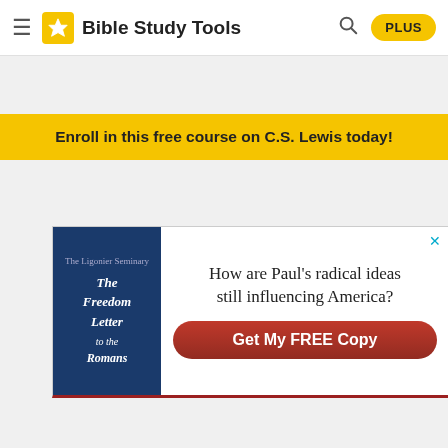Bible Study Tools — PLUS
Enroll in this free course on C.S. Lewis today!
[Figure (illustration): Advertisement for 'The Freedom Letter to the Romans' book. Shows book cover on left and text 'How are Paul's radical ideas still influencing America?' with a red 'Get My FREE Copy' button.]
Bible > Bible Versions > NIV > John > John 19 > John 19:9
John 19 ˅    NIV ˅
John 19:9